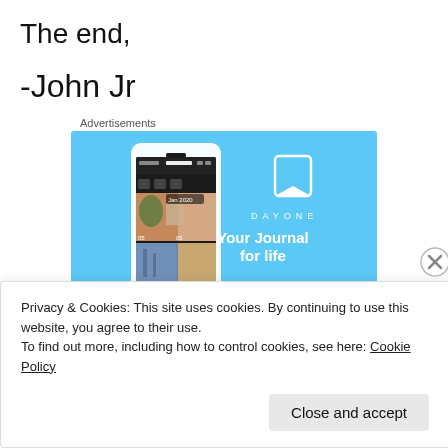The end,
-John Jr
Advertisements
[Figure (illustration): DayOne app advertisement banner. Sky blue background. Left side shows a phone mockup displaying the DayOne journal app interface with photo entries dated Jan 2020. Right side shows the DayOne logo (bookmark icon), the wordmark 'D A Y O N E' in spaced letters, and the tagline 'Your Journal for life' in bold white text.]
Privacy & Cookies: This site uses cookies. By continuing to use this website, you agree to their use.
To find out more, including how to control cookies, see here: Cookie Policy